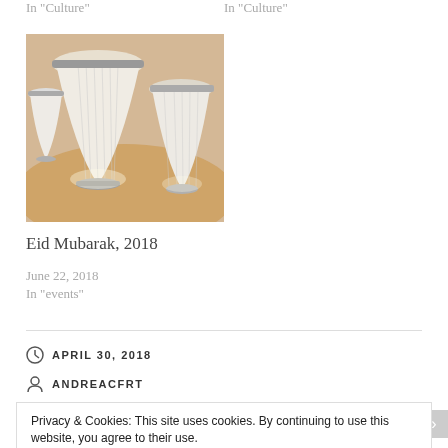In "Culture"
In "Culture"
[Figure (photo): Hanging pendant lamps with white fabric shades and metallic rims in a warm interior setting]
Eid Mubarak, 2018
June 22, 2018
In "events"
APRIL 30, 2018
ANDREACFRT
Privacy & Cookies: This site uses cookies. By continuing to use this website, you agree to their use.
To find out more, including how to control cookies, see here: Cookie Policy
Close and accept